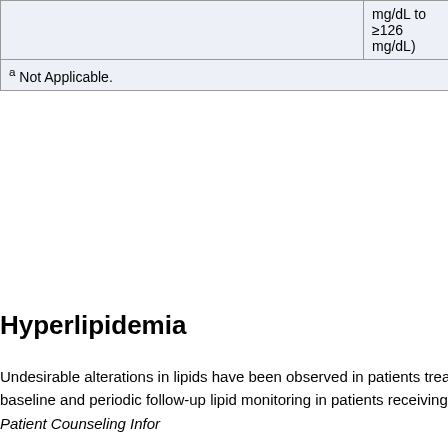|  | mg/dL to ≥126 mg/dL) | Placebo |
| --- | --- | --- |
|  | mg/dL to
≥126
mg/dL) | Placebo |
a Not Applicable.
Hyperlipidemia
Undesirable alterations in lipids have been observed in patients treated with SYMBYAX, including baseline and periodic follow-up lipid monitoring in patients receiving SYMBYAX is recommended [see Patient Counseling Information].
Clinically meaningful, and sometimes very high, increases in triglyceride levels have been observed with SYMBYAX use. Clinically significant increases in total cholesterol have also been seen with SYMBYAX use.
In an analysis of 7 controlled clinical studies, with treatment duration up to 12 weeks, SYMBYAX was associated with an increase in mean random total cholesterol of 12.1 mg/dL compared to a decrease in mean random total cholesterol of 4.8 mg/dL for placebo patients, and an increase in mean random total cholesterol of 5.5 mg/dL for olanzapine monotherapy patients. The categorical changes in nonfasting lipid values are presented below.